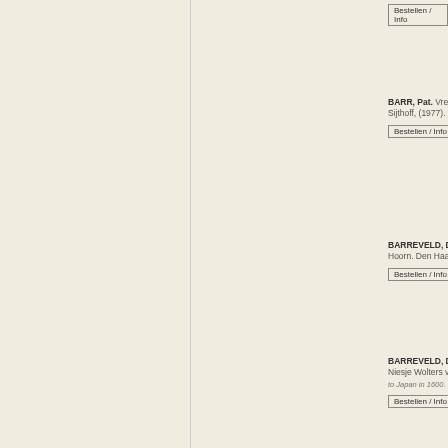Bestellen / Info
BARR, Pat. Vreemde duivels. De Westerling in China en Sijthoff, (1977). Wrappers. With many illustrations. 130 p.
Bestellen / Info
BARREVELD, Dirk Jan. Tegen de Heeren van de VOC Hoorn. Den Haag, SDU, (2002). Wrappers. With illustrati
Bestellen / Info
BARREVELD, Dirk Jan. De route om de west. De Liefe Niesje Wolters van Bemmel, 2002). Wrappers. With maps to Japan in 1600. [Boeknt.: 11063 ]
Bestellen / Info